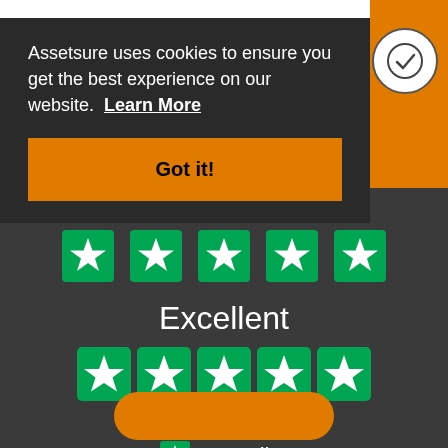Assetsure uses cookies to ensure you get the best experience on our website. Learn More
Got it!
Excellent
Based on 2,028 reviews
[Figure (logo): Trustpilot logo with green star and Trustpilot text]
[Figure (infographic): Five green Trustpilot star rating squares shown in a row]